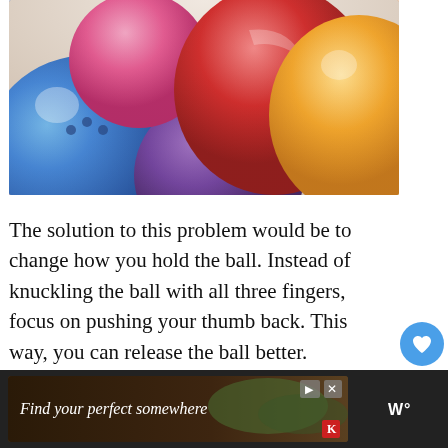[Figure (photo): Close-up photo of colorful bowling balls — blue, purple, pink, red, and orange/yellow — clustered together]
The solution to this problem would be to change how you hold the ball. Instead of knuckling the ball with all three fingers, focus on pushing your thumb back. This way, you can release the ball better.
[Figure (other): Advertisement banner: dark background with 'Find your perfect somewhere' text and scenic image]